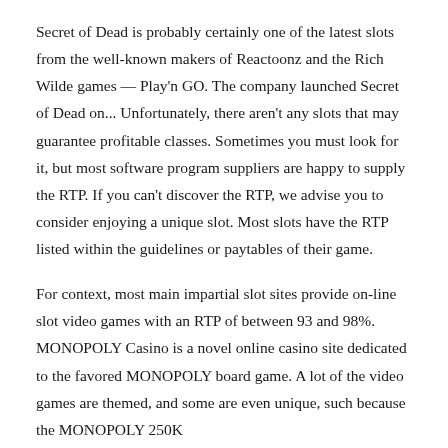Secret of Dead is probably certainly one of the latest slots from the well-known makers of Reactoonz and the Rich Wilde games — Play'n GO. The company launched Secret of Dead on... Unfortunately, there aren't any slots that may guarantee profitable classes. Sometimes you must look for it, but most software program suppliers are happy to supply the RTP. If you can't discover the RTP, we advise you to consider enjoying a unique slot. Most slots have the RTP listed within the guidelines or paytables of their game.
For context, most main impartial slot sites provide on-line slot video games with an RTP of between 93 and 98%. MONOPOLY Casino is a novel online casino site dedicated to the favored MONOPOLY board game. A lot of the video games are themed, and some are even unique, such because the MONOPOLY 250K